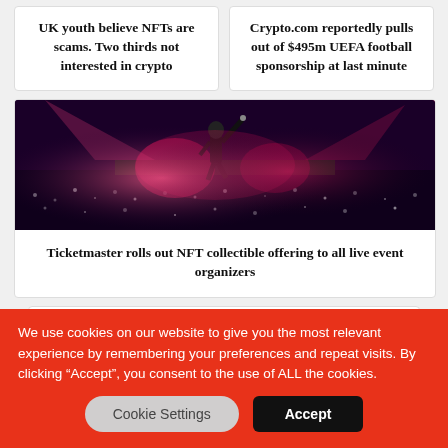UK youth believe NFTs are scams. Two thirds not interested in crypto
Crypto.com reportedly pulls out of $495m UEFA football sponsorship at last minute
[Figure (photo): Concert/live event photo showing a performer on stage with colorful stage lighting and a packed crowd]
Ticketmaster rolls out NFT collectible offering to all live event organizers
Subscribe to FREE newsletter
We use cookies on our website to give you the most relevant experience by remembering your preferences and repeat visits. By clicking “Accept”, you consent to the use of ALL the cookies.
Cookie Settings
Accept